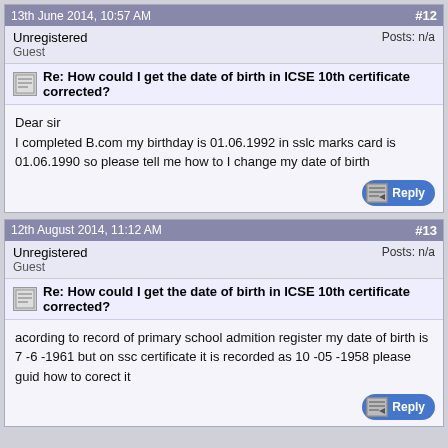13th June 2014, 10:57 AM  #12
Unregistered
Guest
Posts: n/a
Re: How could I get the date of birth in ICSE 10th certificate corrected?
Dear sir
I completed B.com my birthday is 01.06.1992 in sslc marks card is 01.06.1990 so please tell me how to I change my date of birth
12th August 2014, 11:12 AM  #13
Unregistered
Guest
Posts: n/a
Re: How could I get the date of birth in ICSE 10th certificate corrected?
acording to record of primary school admition register my date of birth is 7 -6 -1961 but on ssc certificate it is recorded as 10 -05 -1958 please guid how to corect it